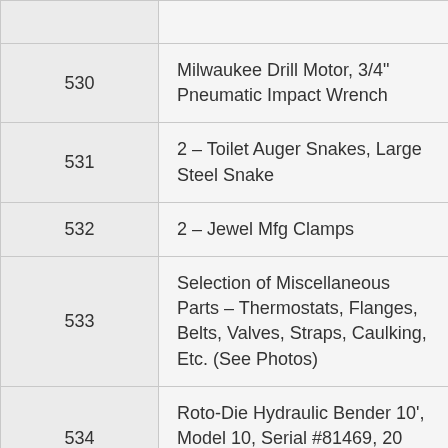| Lot # | Description |
| --- | --- |
| 530 | Milwaukee Drill Motor, 3/4" Pneumatic Impact Wrench |
| 531 | 2 – Toilet Auger Snakes, Large Steel Snake |
| 532 | 2 – Jewel Mfg Clamps |
| 533 | Selection of Miscellaneous Parts – Thermostats, Flanges, Belts, Valves, Straps, Caulking, Etc. (See Photos) |
| 534 | Roto-Die Hydraulic Bender 10', Model 10, Serial #81469, 20 Gauge Capacity |
| 535 | Siemens Heavy Duty Safety Switch, New in Box |
| 536 | Square D Safety Switch, New in Box |